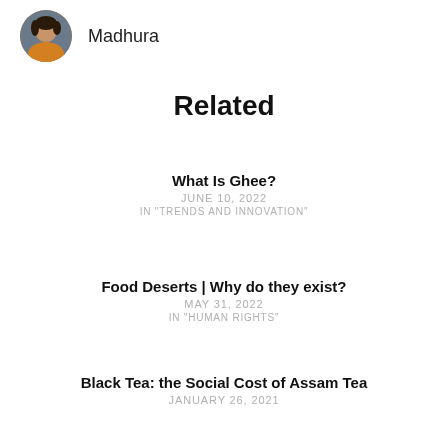[Figure (photo): Circular avatar photo of a woman in a yellow/orange outfit]
Madhura
Related
What Is Ghee?
JUNE 10, 2022
IN "TRENDS AND INNOVATION"
Food Deserts | Why do they exist?
MAY 31, 2022
IN "HUMAN RIGHTS"
Black Tea: the Social Cost of Assam Tea
JANUARY 26, 2021